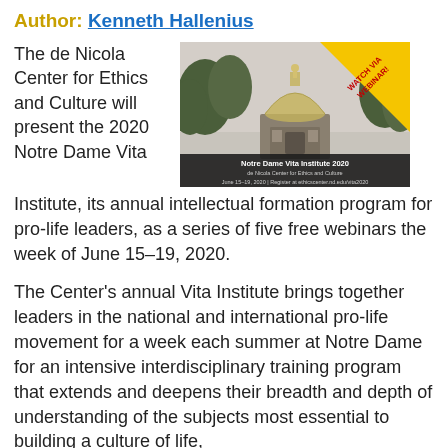Author: Kenneth Hallenius
The de Nicola Center for Ethics and Culture will present the 2020 Notre Dame Vita Institute, its annual intellectual formation program for pro-life leaders, as a series of five free webinars the week of June 15–19, 2020.
[Figure (photo): Notre Dame Vita Institute 2020 promotional image showing the golden dome of Notre Dame with a 'WATCH VIA WEBINAR!' banner. Text reads: Notre Dame Vita Institute 2020, de Nicola Center for Ethics and Culture, June 15-19, 2020 | Register at ethicscenter.nd.edu/vita2020]
The Center's annual Vita Institute brings together leaders in the national and international pro-life movement for a week each summer at Notre Dame for an intensive interdisciplinary training program that extends and deepens their breadth and depth of understanding of the subjects most essential to building a culture of life,